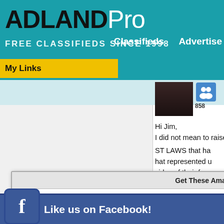ADLANDPro FREE CLASSIFIEDS SINCE 1998
My Links
Hi Jim, I did not mean to raise y... ST LAWS that ha... hat represented u... sides of their fa... right .. we need ... lo many of the R... d honest good ol... I sometimes wo... gs, ...srael the L-rd our G...
[Figure (screenshot): Popup modal with title 'Get These Amazing Deals!' and a collapse/expand button, overlaid on the page content]
[Figure (screenshot): Facebook 'Like us on Facebook!' bar at the bottom with blue Facebook icon and red close button]